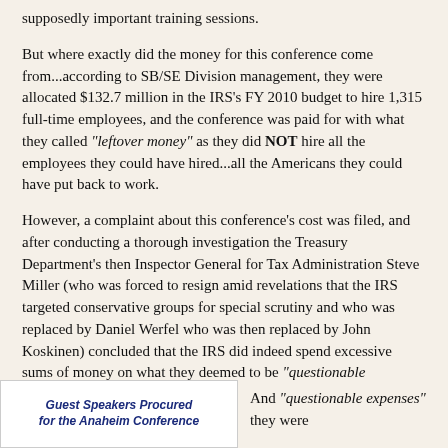supposedly important training sessions.
But where exactly did the money for this conference come from...according to SB/SE Division management, they were allocated $132.7 million in the IRS's FY 2010 budget to hire 1,315 full-time employees, and the conference was paid for with what they called "leftover money" as they did NOT hire all the employees they could have hired...all the Americans they could have put back to work.
However, a complaint about this conference's cost was filed, and after conducting a thorough investigation the Treasury Department's then Inspector General for Tax Administration Steve Miller (who was forced to resign amid revelations that the IRS targeted conservative groups for special scrutiny and who was replaced by Daniel Werfel who was then replaced by John Koskinen) concluded that the IRS did indeed spend excessive sums of money on what they deemed to be "questionable expenses" during this conference.
[Figure (other): Box showing title 'Guest Speakers Procured for the Anaheim Conference' in bold italic navy text on white background]
And "questionable expenses" they were